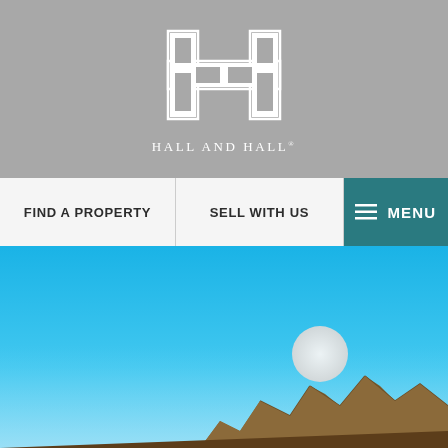[Figure (logo): Hall and Hall logo: stylized H letterform in white on gray background with company name below]
FIND A PROPERTY
SELL WITH US
MENU
[Figure (photo): Landscape photo showing a full moon over rocky mountain peaks against a bright blue sky]